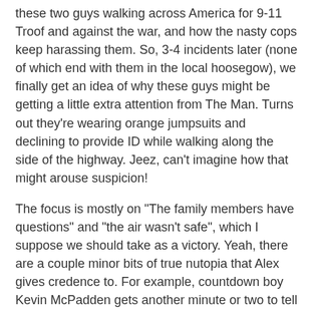these two guys walking across America for 9-11 Troof and against the war, and how the nasty cops keep harassing them. So, 3-4 incidents later (none of which end with them in the local hoosegow), we finally get an idea of why these guys might be getting a little extra attention from The Man. Turns out they're wearing orange jumpsuits and declining to provide ID while walking along the side of the highway. Jeez, can't imagine how that might arouse suspicion!
The focus is mostly on "The family members have questions" and "the air wasn't safe", which I suppose we should take as a victory. Yeah, there are a couple minor bits of true nutopia that Alex gives credence to. For example, countdown boy Kevin McPadden gets another minute or two to tell us the fourth--or is it the fifth--version of his story? Hilariously, it's still "I was standing next to Amy Goodman and I had to run for my life."
I also love the contrast between Luke in confrontation mode and Luke in getting around the cops mode. In the latter, he demands respect and gets offended easily, but when he gets the New World Order in his sights, it's "You're CFR scum, ...